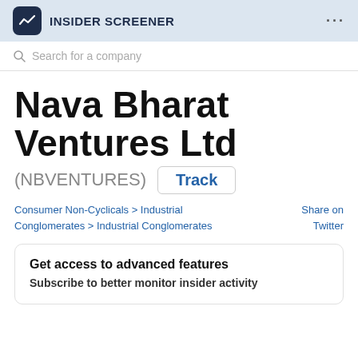INSIDER SCREENER
Search for a company
Nava Bharat Ventures Ltd
(NBVENTURES)  Track
Consumer Non-Cyclicals > Industrial Conglomerates > Industrial Conglomerates   Share on Twitter
Get access to advanced features
Subscribe to better monitor insider activity